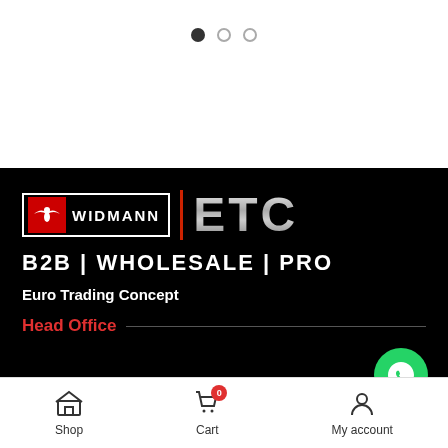[Figure (other): Carousel pagination dots: one filled dark dot and two empty/outlined dots]
[Figure (logo): Widmann ETC logo on black background — red box with eagle icon, WIDMANN text in white, vertical red divider, metallic ETC letters]
B2B | WHOLESALE | PRO
Euro Trading Concept
Head Office
795/799 Bergenesesteenweg unit A4
Shop  Cart  My account